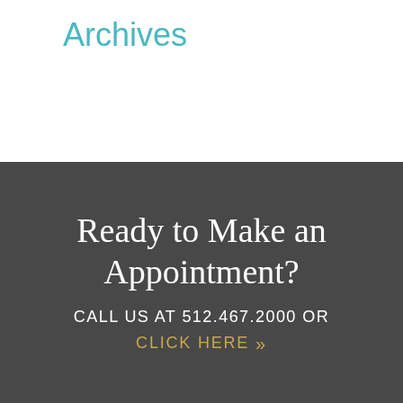Archives
Ready to Make an Appointment?
CALL US AT 512.467.2000 OR
CLICK HERE »